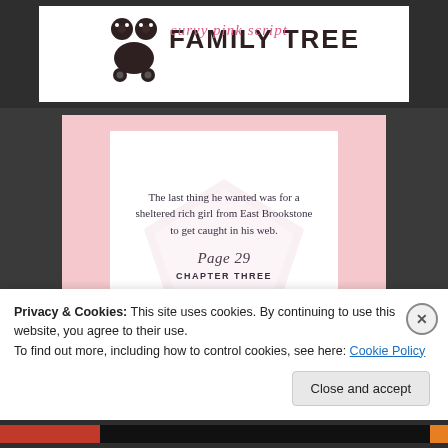[Figure (logo): Family Tree blog logo with stroller icon and stylized pink/black text reading FAMILY TREE]
[Figure (illustration): Pink book cover panel with white card showing a diamond background image, a book quote about a sheltered rich girl, Page 29 in script, and CHAPTER THREE in bold capitals]
The last thing he wanted was for a sheltered rich girl from East Brookstone to get caught in his web.
Page 29
CHAPTER THREE
Privacy & Cookies: This site uses cookies. By continuing to use this website, you agree to their use.
To find out more, including how to control cookies, see here: Cookie Policy
Close and accept